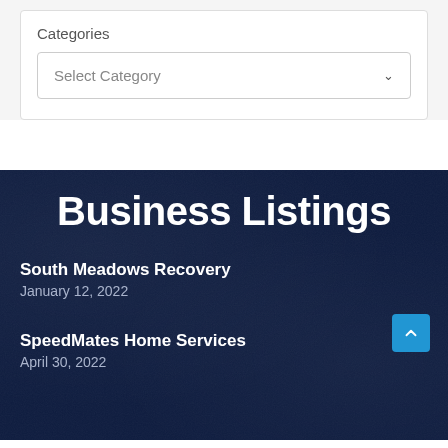Categories
Select Category
Business Listings
South Meadows Recovery
January 12, 2022
SpeedMates Home Services
April 30, 2022